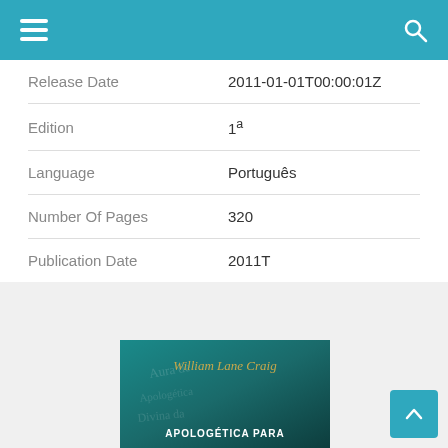Navigation bar with menu and search icons
| Field | Value |
| --- | --- |
| Release Date | 2011-01-01T00:00:01Z |
| Edition | 1ª |
| Language | Português |
| Number Of Pages | 320 |
| Publication Date | 2011T |
[Figure (photo): Book cover for 'Apologética Para' by William Lane Craig, teal/dark green background with gold text and cursive script decorations]
[Figure (other): Scroll to top button, light blue square with upward chevron arrow]